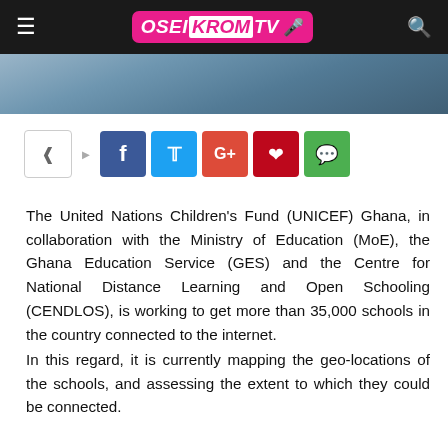OSEIKROM TV
[Figure (photo): Partial photo visible below the header bar, showing a person in the background]
[Figure (infographic): Social share buttons: share icon, arrow, Facebook, Twitter, Google+, Pinterest, WhatsApp]
The United Nations Children's Fund (UNICEF) Ghana, in collaboration with the Ministry of Education (MoE), the Ghana Education Service (GES) and the Centre for National Distance Learning and Open Schooling (CENDLOS), is working to get more than 35,000 schools in the country connected to the internet.
In this regard, it is currently mapping the geo-locations of the schools, and assessing the extent to which they could be connected.